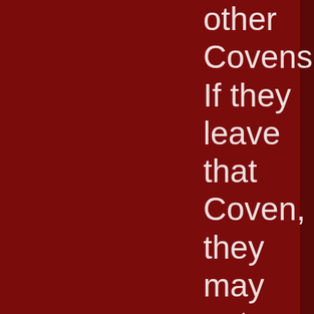other Covens. If they leave that Coven, they may not join another until the next full moon, and if an existing